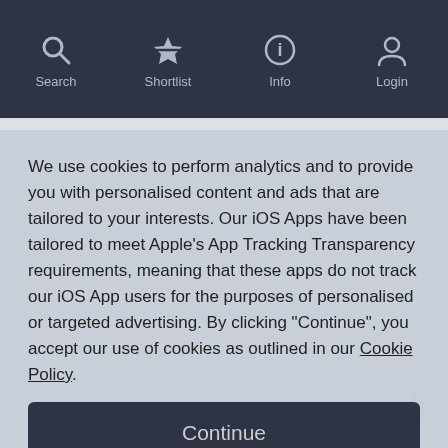Search | Shortlist | Info | Login
[Figure (screenshot): Grey content area with ID VERIFIED badge and star icon]
We use cookies to perform analytics and to provide you with personalised content and ads that are tailored to your interests. Our iOS Apps have been tailored to meet Apple's App Tracking Transparency requirements, meaning that these apps do not track our iOS App users for the purposes of personalised or targeted advertising. By clicking "Continue", you accept our use of cookies as outlined in our Cookie Policy.
Continue